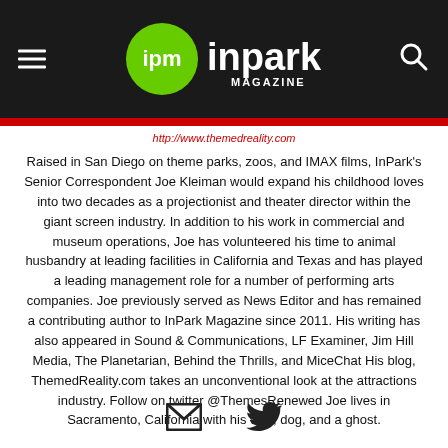ipm inpark MAGAZINE
http://www.themedreality.com
Raised in San Diego on theme parks, zoos, and IMAX films, InPark's Senior Correspondent Joe Kleiman would expand his childhood loves into two decades as a projectionist and theater director within the giant screen industry. In addition to his work in commercial and museum operations, Joe has volunteered his time to animal husbandry at leading facilities in California and Texas and has played a leading management role for a number of performing arts companies. Joe previously served as News Editor and has remained a contributing author to InPark Magazine since 2011. His writing has also appeared in Sound & Communications, LF Examiner, Jim Hill Media, The Planetarian, Behind the Thrills, and MiceChat His blog, ThemedReality.com takes an unconventional look at the attractions industry. Follow on twitter @ThemesRenewed Joe lives in Sacramento, California with his wife, dog, and a ghost.
[Figure (illustration): Email and Twitter social media icons]